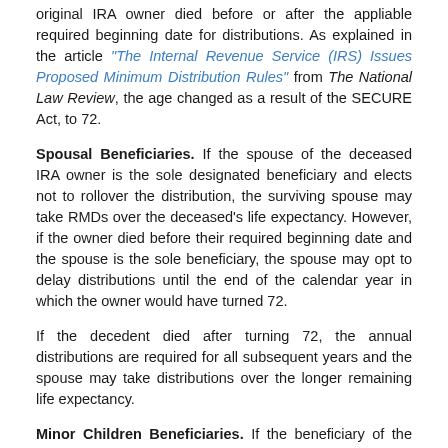original IRA owner died before or after the appliable required beginning date for distributions. As explained in the article "The Internal Revenue Service (IRS) Issues Proposed Minimum Distribution Rules" from The National Law Review, the age changed as a result of the SECURE Act, to 72.
Spousal Beneficiaries. If the spouse of the deceased IRA owner is the sole designated beneficiary and elects not to rollover the distribution, the surviving spouse may take RMDs over the deceased's life expectancy. However, if the owner died before their required beginning date and the spouse is the sole beneficiary, the spouse may opt to delay distributions until the end of the calendar year in which the owner would have turned 72.
If the decedent died after turning 72, the annual distributions are required for all subsequent years and the spouse may take distributions over the longer remaining life expectancy.
Minor Children Beneficiaries. If the beneficiary of the IRA is a minor child, under age 21, annual distributions are required using the minor child's life expectancy. When the minor turns 21, they must take annual distributions and the account must be fully distributed ten years after the child's 21st birthday.